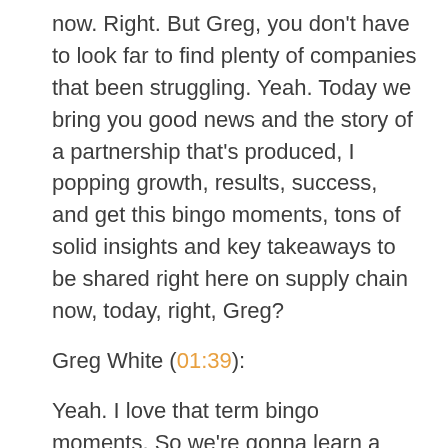now. Right. But Greg, you don't have to look far to find plenty of companies that been struggling. Yeah. Today we bring you good news and the story of a partnership that's produced, I popping growth, results, success, and get this bingo moments, tons of solid insights and key takeaways to be shared right here on supply chain now, today, right, Greg?
Greg White (01:39):
Yeah. I love that term bingo moments. So we're gonna learn a little bit more about that when we bring our guests in.